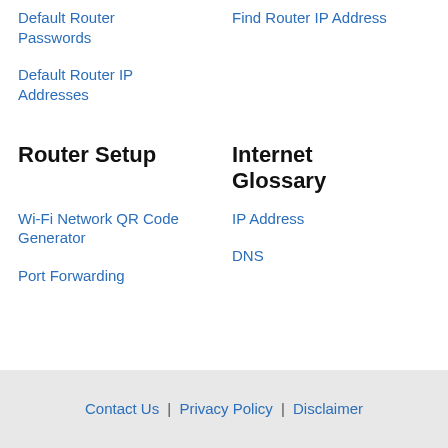Default Router Passwords
Find Router IP Address
Default Router IP Addresses
Router Setup
Internet Glossary
Wi-Fi Network QR Code Generator
IP Address
Port Forwarding
DNS
Contact Us | Privacy Policy | Disclaimer